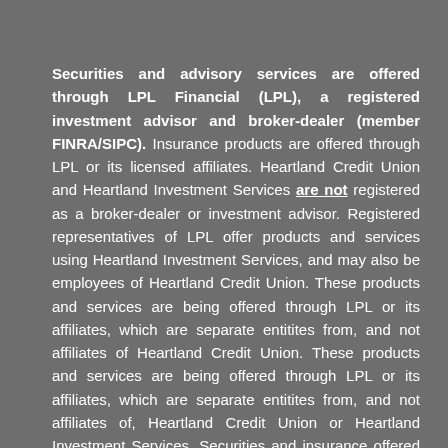Securities and advisory services are offered through LPL Financial (LPL), a registered investment advisor and broker-dealer (member FINRA/SIPC). Insurance products are offered through LPL or its licensed affiliates. Heartland Credit Union and Heartland Investment Services are not registered as a broker-dealer or investment advisor. Registered representatives of LPL offer products and services using Heartland Investment Services, and may also be employees of Heartland Credit Union. These products and services are being offered through LPL or its affiliates, which are separate entitites from, and not affiliates of Heartland Credit Union. These products and services are being offered through LPL or its affiliates, which are separate entitites from, and not affiliates of, Heartland Credit Union or Heartland Investment Services. Securities and insurance offered through LPL or its affiliates are:
Not insured by NCUA or Any Other Government Agency - Not Credit Union Guaranteed - Not Credit Union Deposits or